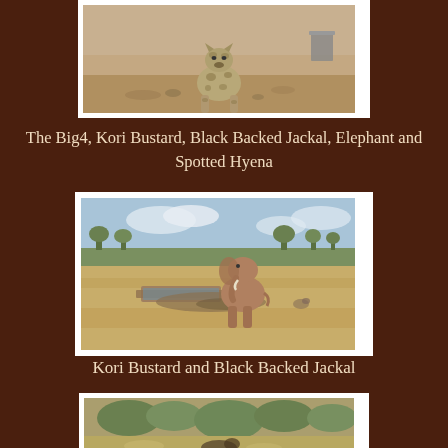[Figure (photo): Spotted hyena standing on sandy ground, facing camera, with a metal bucket visible in the background. Partial view, cropped at top.]
The Big4, Kori Bustard, Black Backed Jackal, Elephant and Spotted Hyena
[Figure (photo): An elephant standing near a watering hole/trough in a dry savanna landscape with yellow grass, bushes, and a light blue sky with clouds.]
Kori Bustard and Black Backed Jackal
[Figure (photo): Partial view of a savanna landscape with vegetation, partially cropped at the bottom of the page.]